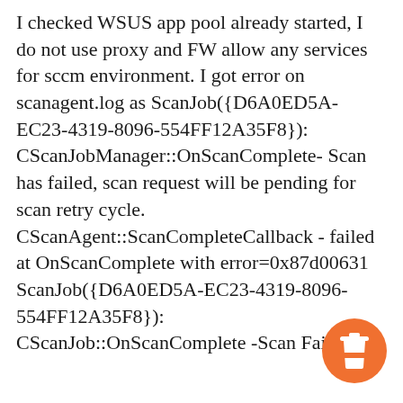I checked WSUS app pool already started, I do not use proxy and FW allow any services for sccm environment. I got error on scanagent.log as ScanJob({D6A0ED5A-EC23-4319-8096-554FF12A35F8}): CScanJobManager::OnScanComplete- Scan has failed, scan request will be pending for scan retry cycle. CScanAgent::ScanCompleteCallback - failed at OnScanComplete with error=0x87d00631 ScanJob({D6A0ED5A-EC23-4319-8096-554FF12A35F8}): CScanJob::OnScanComplete -Scan Failed
[Figure (illustration): Orange circular badge with a coffee cup (to-go cup) icon in the bottom-right corner of the page]